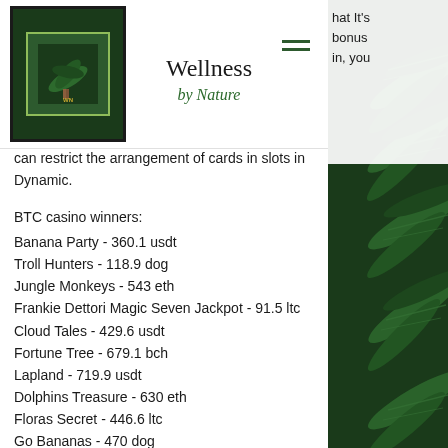Wellness by Nature
hat It's bonus in, you can restrict the arrangement of cards in slots in Dynamic.
BTC casino winners:
Banana Party - 360.1 usdt
Troll Hunters - 118.9 dog
Jungle Monkeys - 543 eth
Frankie Dettori Magic Seven Jackpot - 91.5 ltc
Cloud Tales - 429.6 usdt
Fortune Tree - 679.1 bch
Lapland - 719.9 usdt
Dolphins Treasure - 630 eth
Floras Secret - 446.6 ltc
Go Bananas - 470 dog
FruitsLand - 709.7 btc
Hook's Heroes - 346.8 ltc
Fortune Tree - 472.3 ltc